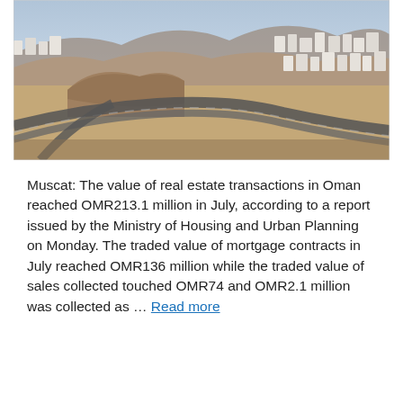[Figure (photo): Aerial photograph of Muscat, Oman, showing a residential urban area with white buildings spread across desert terrain, intersecting roads and highways visible in the foreground and middle ground, hills in the background.]
Muscat: The value of real estate transactions in Oman reached OMR213.1 million in July, according to a report issued by the Ministry of Housing and Urban Planning on Monday. The traded value of mortgage contracts in July reached OMR136 million while the traded value of sales collected touched OMR74 and OMR2.1 million was collected as … Read more